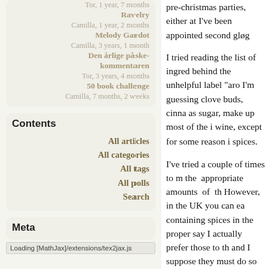Ravelry
Camilla, 1 year, 2 months
Melody Gardot
Camilla, 3 years, 1 month
Den årlige påske-kommentaren
Tor, 3 years, 4 months
50 book challenge
Camilla, 7 months, 2 weeks
Contents
All articles
All categories
All tags
All polls
Search
Meta
Loading [MathJax]/extensions/tex2jax.js
pre-christmas parties, either at... I've been appointed second gløg...
I tried reading the list of ingredients behind the unhelpful label "aro... I'm guessing clove buds, cinna... as sugar, make up most of the i... wine, except for some reason i... spices.
I've tried a couple of times to m... the appropriate amounts of th... However, in the UK you can ea... containing spices in the proper... say I actually prefer those to th... and I suppose they must do so... bottle for quite a long time with...
Note to Camilla: remind me to